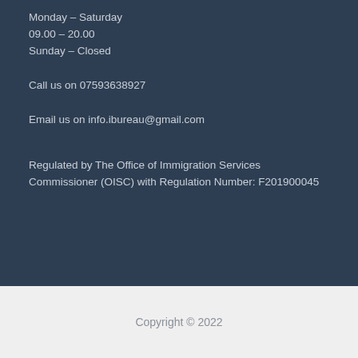Monday – Saturday
09.00 – 20.00
Sunday – Closed
Call us on 07593638927
Email us on info.ibureau@gmail.com
Regulated by The Office of Immigration Services Commissioner (OISC) with Regulation Number: F201900045
Copyright © 2022